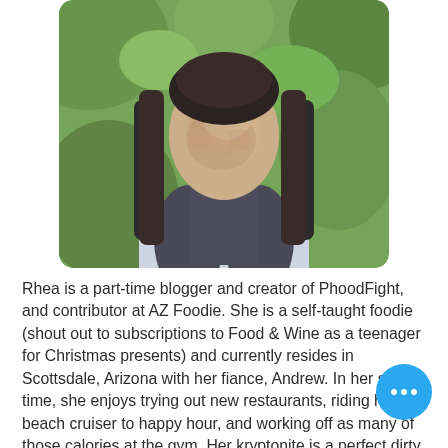[Figure (photo): A blurred photo of a woman with long dark hair wearing a light-colored top, standing outdoors in front of green foliage. The face is blurred/pixelated for privacy. The image has rounded corners.]
Rhea is a part-time blogger and creator of PhoodFight, and contributor at AZ Foodie. She is a self-taught foodie (shout out to subscriptions to Food & Wine as a teenager for Christmas presents) and currently resides in Scottsdale, Arizona with her fiance, Andrew. In her spare time, she enjoys trying out new restaurants, riding her beach cruiser to happy hour, and working off as many of those calories at the gym. Her kryptonite is a perfect dirty martini. Follow her on social media to see